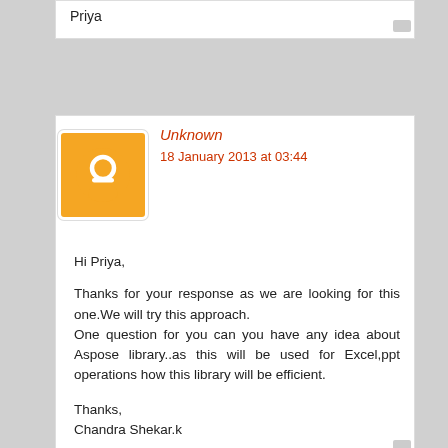Priya
[Figure (illustration): Blogger avatar: orange circle with white equal-sign icon]
Unknown
18 January 2013 at 03:44
Hi Priya,

Thanks for your response as we are looking for this one.We will try this approach.
One question for you can you have any idea about Aspose library..as this will be used for Excel,ppt operations how this library will be efficient.


Thanks,
Chandra Shekar.k